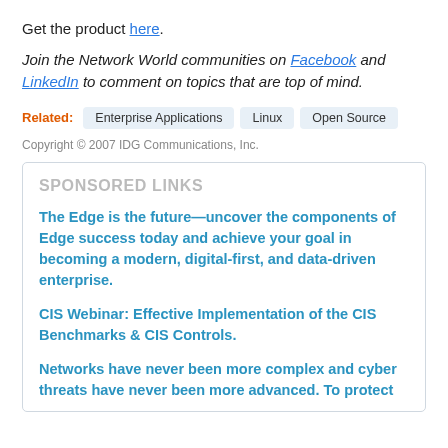Get the product here.
Join the Network World communities on Facebook and LinkedIn to comment on topics that are top of mind.
Related: Enterprise Applications  Linux  Open Source
Copyright © 2007 IDG Communications, Inc.
SPONSORED LINKS
The Edge is the future—uncover the components of Edge success today and achieve your goal in becoming a modern, digital-first, and data-driven enterprise.
CIS Webinar: Effective Implementation of the CIS Benchmarks & CIS Controls.
Networks have never been more complex and cyber threats have never been more advanced. To protect